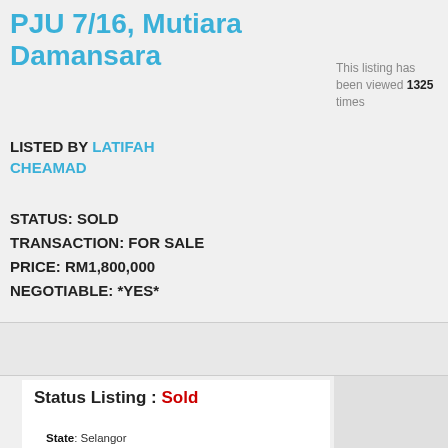PJU 7/16, Mutiara Damansara
LISTED BY LATIFAH CHEAMAD
STATUS: SOLD
TRANSACTION: FOR SALE
PRICE: RM1,800,000
NEGOTIABLE: *YES*
This listing has been viewed 1325 times
Status Listing : Sold
State: Selangor
City / Township: Mutiara Damansara
Apartment/Taman/Seksyen: Jalan PJU 7/16